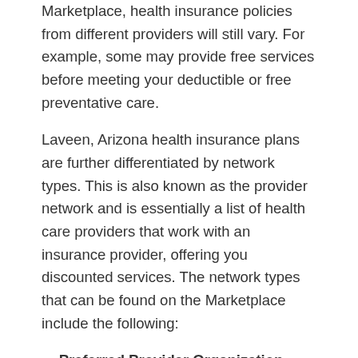Marketplace, health insurance policies from different providers will still vary. For example, some may provide free services before meeting your deductible or free preventative care.
Laveen, Arizona health insurance plans are further differentiated by network types. This is also known as the provider network and is essentially a list of health care providers that work with an insurance provider, offering you discounted services. The network types that can be found on the Marketplace include the following:
Preferred Provider Organization (PPO): This is a network type that allows you to save costs if you use Laveen, Arizona healthcare providers that are within the insurance provider's network. You may still go outside of the network of doctors and specialists without a referral from your primary